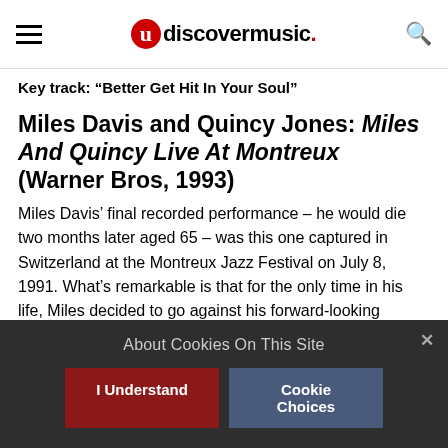uDiscover Music
Key track: “Better Get Hit In Your Soul”
Miles Davis and Quincy Jones: Miles And Quincy Live At Montreux (Warner Bros, 1993)
Miles Davis’ final recorded performance – he would die two months later aged 65 – was this one captured in Switzerland at the Montreux Jazz Festival on July 8, 1991. What’s remarkable is that for the only time in his life, Miles decided to go against his forward-looking principles and revisit
About Cookies On This Site
I Understand
Cookie Choices